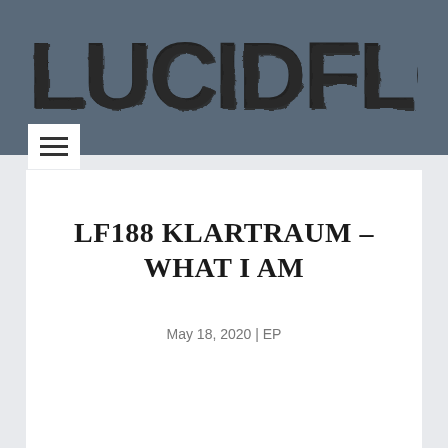LUCIDFLOW
LF188 KLARTRAUM – WHAT I AM
May 18, 2020 | EP